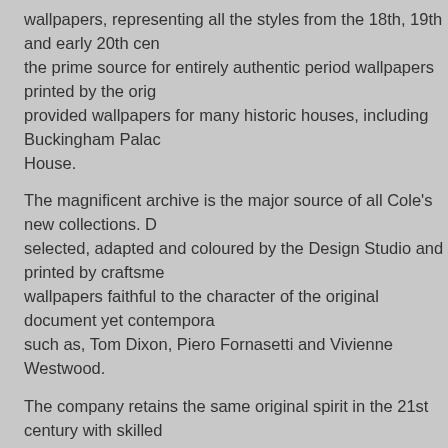wallpapers, representing all the styles from the 18th, 19th and early 20th century, the prime source for entirely authentic period wallpapers printed by the original blocks, provided wallpapers for many historic houses, including Buckingham Palace and Spencer House.
The magnificent archive is the major source of all Cole's new collections. Designs are selected, adapted and coloured by the Design Studio and printed by craftsmen to produce wallpapers faithful to the character of the original document yet contemporary, for designers such as, Tom Dixon, Piero Fornasetti and Vivienne Westwood.
The company retains the same original spirit in the 21st century with skilled craftsmen using the latest modern technology.
You can find many photographs of Cole and Son wallpapers as you browse the site. If you need of any assistance with anything you view there please contact us and we would be...
Silver River Interiors - Interior Design Ireland
Sitemap